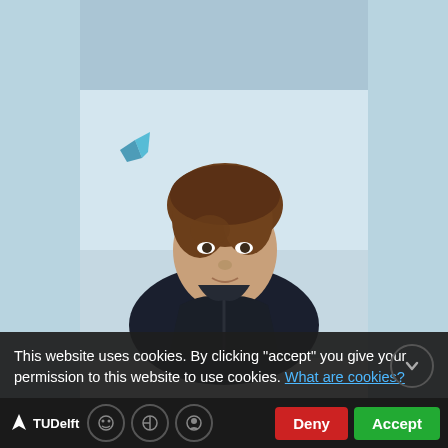[Figure (photo): Headshot photo of Sierd de Vries, a young man with brown hair wearing a dark jacket, outdoors with a light sky background and a small kite visible in the background.]
Sierd de Vries
Assistant professor Coastal Engineering
This website uses cookies. By clicking "accept" you give your permission to this website to use cookies. What are cookies?
TUDelft  Deny  Accept